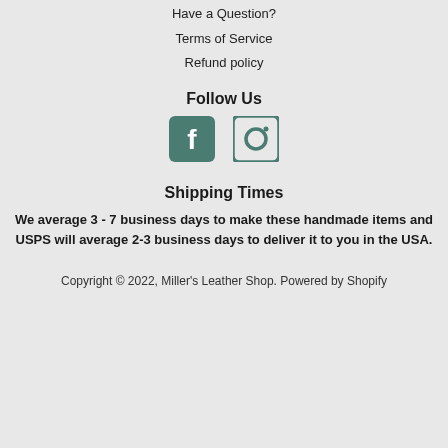Have a Question?
Terms of Service
Refund policy
Follow Us
[Figure (illustration): Facebook and Instagram social media icons side by side]
Shipping Times
We average 3 - 7  business days to make these handmade items and USPS will average 2-3 business days to deliver it to you in the USA.
Copyright © 2022, Miller's Leather Shop. Powered by Shopify